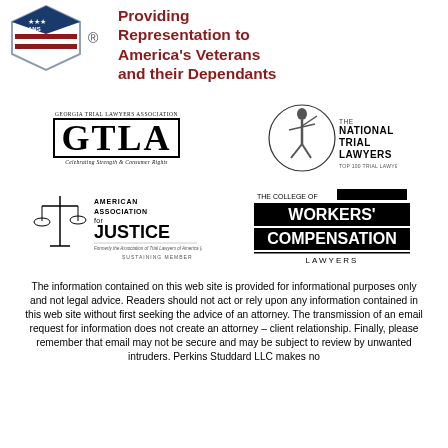[Figure (logo): Hexagon-shaped logo with stars/stripes and registered trademark symbol, alongside red bold text 'Providing Representation to America's Veterans and their Dependants']
[Figure (logo): GTLA - Georgia Trial Lawyers Association logo with large bold GTLA text in border]
[Figure (logo): The National Trial Lawyers Top 100 Trial Lawyers logo with figure of justice]
[Figure (logo): American Association for Justice - Sustaining Member logo with scales of justice]
[Figure (logo): The College of Workers' Compensation Lawyers logo]
The information contained on this web site is provided for informational purposes only and not legal advice. Readers should not act or rely upon any information contained in this web site without first seeking the advice of an attorney. The transmission of an email request for information does not create an attorney – client relationship. Finally, please remember that email may not be secure and may be subject to review by unwanted intruders. Perkins Studdard LLC makes no